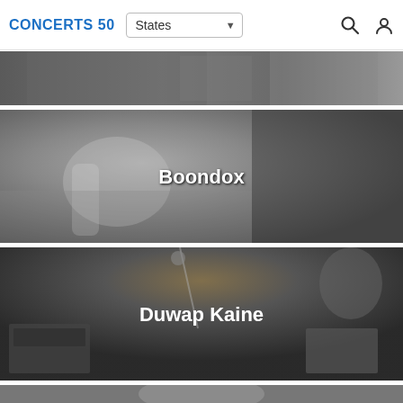CONCERTS 50  States
[Figure (photo): Black and white photo of a performer, partially visible at top of page]
[Figure (photo): Black and white photo of a hand making a gesture at a concert, with the label 'Boondox']
[Figure (photo): Black and white photo of a DJ/concert setup with microphone and equipment, labeled 'Duwap Kaine']
[Figure (photo): Black and white photo partially visible at bottom of page]